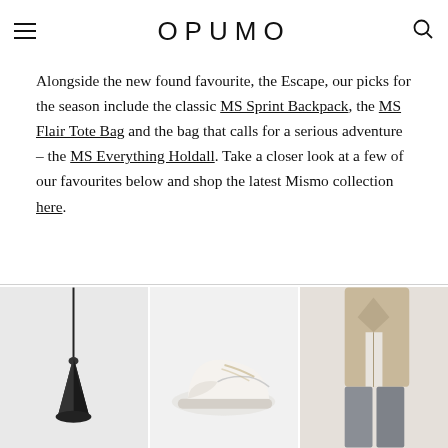OPUMO
Alongside the new found favourite, the Escape, our picks for the season include the classic MS Sprint Backpack, the MS Flair Tote Bag and the bag that calls for a serious adventure – the MS Everything Holdall. Take a closer look at a few of our favourites below and shop the latest Mismo collection here.
[Figure (photo): Three product images side by side: a dark pendant lamp, a pair of light-coloured sneakers, and a person wearing a beige jacket with grey trousers.]